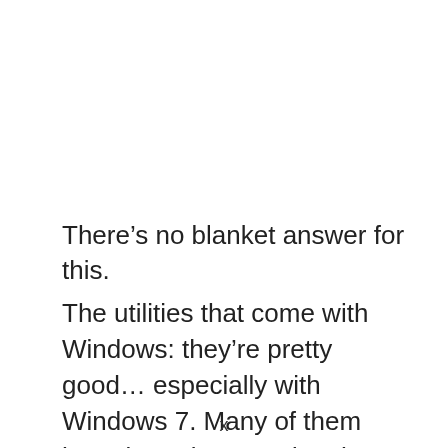There’s no blanket answer for this.
The utilities that come with Windows: they’re pretty good… especially with Windows 7. Many of them have been improved to the extent that you don’t
x